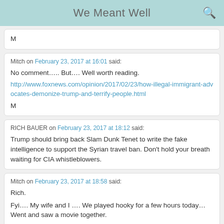We Meant Well
M
Mitch on February 23, 2017 at 16:01 said:
No comment….. But…. Well worth reading.
http://www.foxnews.com/opinion/2017/02/23/how-illegal-immigrant-advocates-demonize-trump-and-terrify-people.html
M
RICH BAUER on February 23, 2017 at 18:12 said:
Trump should bring back Slam Dunk Tenet to write the fake intelligence to support the Syrian travel ban. Don't hold your breath waiting for CIA whistleblowers.
Mitch on February 23, 2017 at 18:58 said:
Rich.
Fyi…. My wife and I …. We played hooky for a few hours today… Went and saw a movie together.
STRONGLY recommend " Hacksaw Ridge "
Holy crap…. The Medal of Honor citation … It really understates what the guy did…